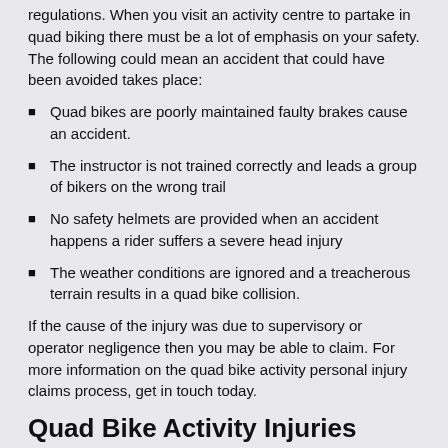regulations. When you visit an activity centre to partake in quad biking there must be a lot of emphasis on your safety. The following could mean an accident that could have been avoided takes place:
Quad bikes are poorly maintained faulty brakes cause an accident.
The instructor is not trained correctly and leads a group of bikers on the wrong trail
No safety helmets are provided when an accident happens a rider suffers a severe head injury
The weather conditions are ignored and a treacherous terrain results in a quad bike collision.
If the cause of the injury was due to supervisory or operator negligence then you may be able to claim. For more information on the quad bike activity personal injury claims process, get in touch today.
Quad Bike Activity Injuries